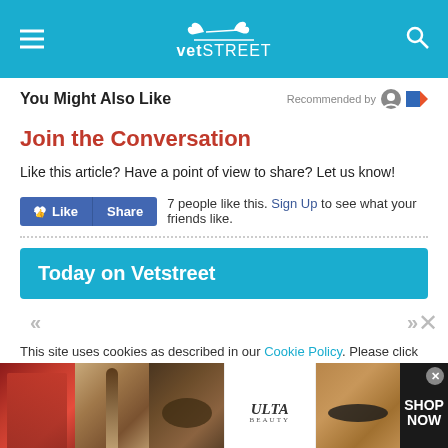vetSTREET
You Might Also Like
Recommended by
Join the Conversation
Like this article? Have a point of view to share? Let us know!
7 people like this. Sign Up to see what your friends like.
Today on Vetstreet
This site uses cookies as described in our Cookie Policy. Please click
[Figure (other): ULTA Beauty advertisement banner with makeup imagery and SHOP NOW call to action]